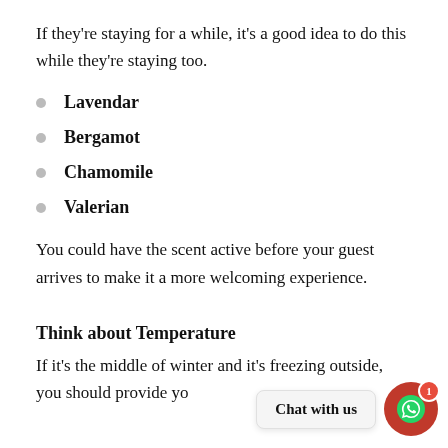If they're staying for a while, it's a good idea to do this while they're staying too.
Lavendar
Bergamot
Chamomile
Valerian
You could have the scent active before your guest arrives to make it a more welcoming experience.
Think about Temperature
If it's the middle of winter and it's freezing outside, you should provide yo...